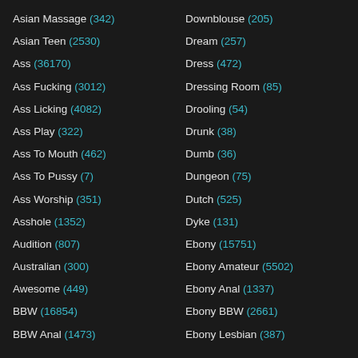Asian Massage (342)
Asian Teen (2530)
Ass (36170)
Ass Fucking (3012)
Ass Licking (4082)
Ass Play (322)
Ass To Mouth (462)
Ass To Pussy (7)
Ass Worship (351)
Asshole (1352)
Audition (807)
Australian (300)
Awesome (449)
BBW (16854)
BBW Anal (1473)
Downblouse (205)
Dream (257)
Dress (472)
Dressing Room (85)
Drooling (54)
Drunk (38)
Dumb (36)
Dungeon (75)
Dutch (525)
Dyke (131)
Ebony (15751)
Ebony Amateur (5502)
Ebony Anal (1337)
Ebony BBW (2661)
Ebony Lesbian (387)